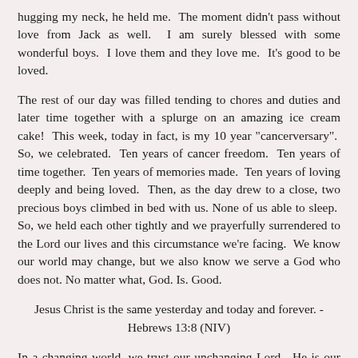hugging my neck, he held me.  The moment didn't pass without love from Jack as well.  I am surely blessed with some wonderful boys.  I love them and they love me.  It's good to be loved.
The rest of our day was filled tending to chores and duties and later time together with a splurge on an amazing ice cream cake!  This week, today in fact, is my 10 year "cancerversary".  So, we celebrated.  Ten years of cancer freedom.  Ten years of time together.  Ten years of memories made.  Ten years of loving deeply and being loved.  Then, as the day drew to a close, two precious boys climbed in bed with us. None of us able to sleep.  So, we held each other tightly and we prayerfully surrendered to the Lord our lives and this circumstance we're facing.  We know our world may change, but we also know we serve a God who does not. No matter what, God. Is. Good.
Jesus Christ is the same yesterday and today and forever. - Hebrews 13:8 (NIV)
In a changing world, we trust our unchanging Lord.  He is our rock.  Our hope.  Our joy.  Our salvation.  I pray He is yours as well.